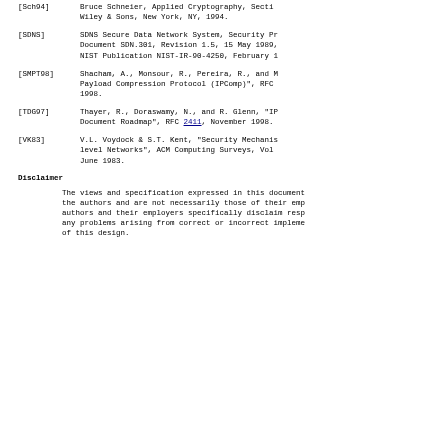[Sch94] Bruce Schneier, Applied Cryptography, Section... Wiley & Sons, New York, NY, 1994.
[SDNS] SDNS Secure Data Network System, Security Pr... Document SDN.301, Revision 1.5, 15 May 1989, NIST Publication NIST-IR-90-4250, February 1...
[SMPT98] Shacham, A., Monsour, R., Pereira, R., and M... Payload Compression Protocol (IPComp)", RFC... 1998.
[TDG97] Thayer, R., Doraswamy, N., and R. Glenn, "IP... Document Roadmap", RFC 2411, November 1998.
[VK83] V.L. Voydock & S.T. Kent, "Security Mechanisms... level Networks", ACM Computing Surveys, Vol... June 1983.
Disclaimer
The views and specification expressed in this document... the authors and are not necessarily those of their emp... authors and their employers specifically disclaim resp... any problems arising from correct or incorrect impleme... of this design.